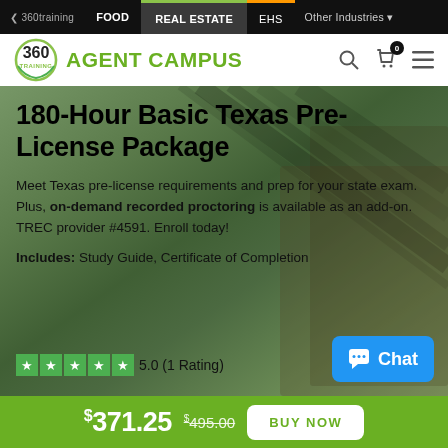< 360training  FOOD  REAL ESTATE  EHS  Other Industries
[Figure (logo): 360 Training Agent Campus logo with green circular emblem and green AGENT CAMPUS text]
180-Hour Basic Texas Pre-License Package
Meet Texas pre-license requirements and prep for your state exam. Plus, on-demand recorded proctoring is available as an add-on. TREC provider #4591. Enroll today!
Includes: Study Guide, Certificate of Completion
5.0 (1 Rating)
$371.25  $495.00  BUY NOW